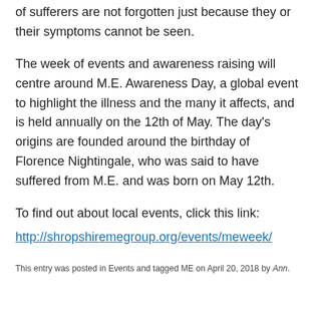of sufferers are not forgotten just because they or their symptoms cannot be seen.
The week of events and awareness raising will centre around M.E. Awareness Day, a global event to highlight the illness and the many it affects, and is held annually on the 12th of May. The day's origins are founded around the birthday of Florence Nightingale, who was said to have suffered from M.E. and was born on May 12th.
To find out about local events, click this link:
http://shropshiremegroup.org/events/meweek/
This entry was posted in Events and tagged ME on April 20, 2018 by Ann.